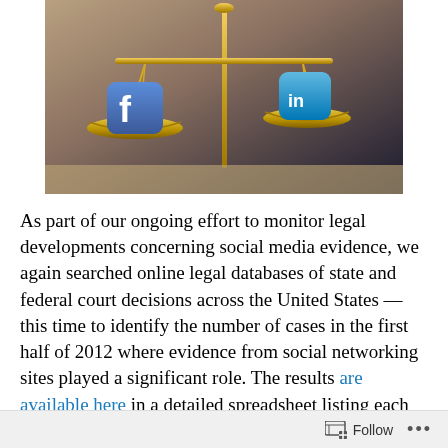[Figure (photo): Photo of gold scales of justice with Facebook logo icon on the left pan and LinkedIn logo icon on the right pan, against a dark background.]
As part of our ongoing effort to monitor legal developments concerning social media evidence, we again searched online legal databases of state and federal court decisions across the United States — this time to identify the number of cases in the first half of 2012 where evidence from social networking sites played a significant role. The results are available here in a detailed spreadsheet listing each case, allowing for anyone to review the cases and
Follow ...